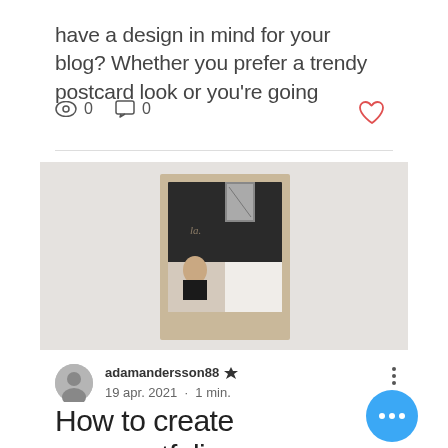have a design in mind for your blog? Whether you prefer a trendy postcard look or you're going
0  0
[Figure (photo): A framed portfolio mockup showing a photo collage with a woman's portrait, tan frame, black inner frame, on a light grey background]
adamandersson88 🔱 19 apr. 2021 · 1 min.
How to create your portfolio